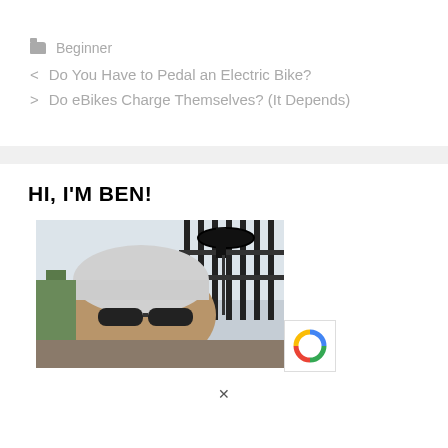Beginner
< Do You Have to Pedal an Electric Bike?
> Do eBikes Charge Themselves? (It Depends)
HI, I'M BEN!
[Figure (photo): Man wearing a bicycle helmet and sunglasses, smiling, with an electric bike visible behind him, outdoors near a fence.]